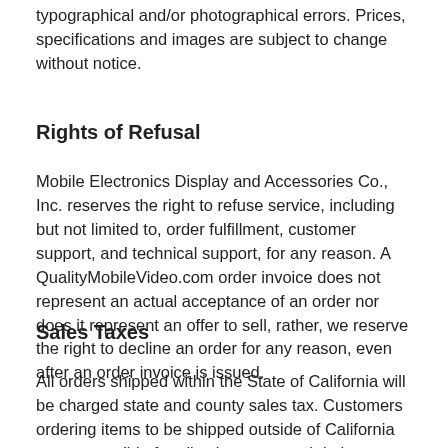typographical and/or photographical errors. Prices, specifications and images are subject to change without notice.
Rights of Refusal
Mobile Electronics Display and Accessories Co., Inc. reserves the right to refuse service, including but not limited to, order fulfillment, customer support, and technical support, for any reason. A QualityMobileVideo.com order invoice does not represent an actual acceptance of an order nor does it represent an offer to sell, rather, we reserve the right to decline an order for any reason, even after an order invoice is issued.
Sales Taxes
All orders shipped within the State of California will be charged state and county sales tax. Customers ordering items to be shipped outside of California are responsible for all sales taxes and duties as assessed by their respective